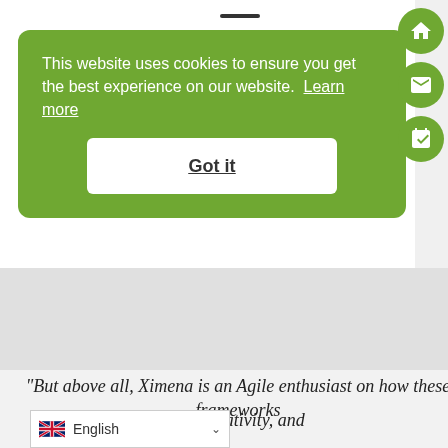[Figure (screenshot): Green cookie consent banner on a website with 'Got it' button, and circular green sidebar buttons (home, email, calendar)]
This website uses cookies to ensure you get the best experience on our website.  Learn more
Got it
"But above all, Ximena is an Agile enthusiast on how these frameworks ion and creativity, and
English